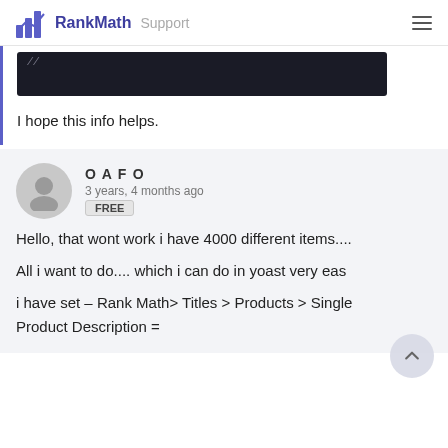RankMath Support
[Figure (screenshot): Dark code editor screenshot with faint italic text]
I hope this info helps.
OAFO
3 years, 4 months ago
FREE
Hello, that wont work i have 4000 different items....
All i want to do.... which i can do in yoast very eas
i have set – Rank Math> Titles > Products > Single Product Description =